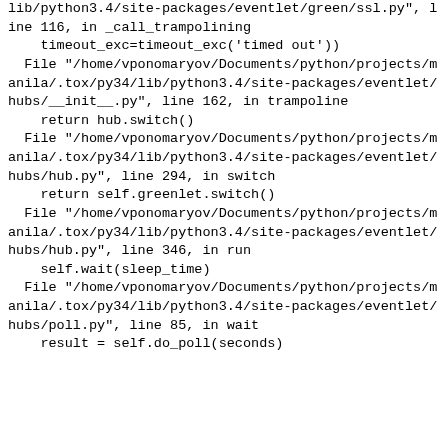lib/python3.4/site-packages/eventlet/green/ssl.py", line 116, in _call_trampolining
    timeout_exc=timeout_exc('timed out'))
  File "/home/vponomaryov/Documents/python/projects/manila/.tox/py34/lib/python3.4/site-packages/eventlet/hubs/__init__.py", line 162, in trampoline
    return hub.switch()
  File "/home/vponomaryov/Documents/python/projects/manila/.tox/py34/lib/python3.4/site-packages/eventlet/hubs/hub.py", line 294, in switch
    return self.greenlet.switch()
  File "/home/vponomaryov/Documents/python/projects/manila/.tox/py34/lib/python3.4/site-packages/eventlet/hubs/hub.py", line 346, in run
    self.wait(sleep_time)
  File "/home/vponomaryov/Documents/python/projects/manila/.tox/py34/lib/python3.4/site-packages/eventlet/hubs/poll.py", line 85, in wait
    result = self.do_poll(seconds)